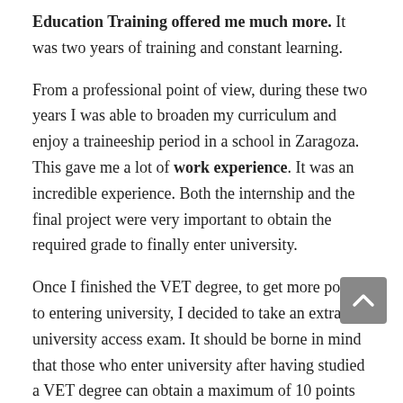Education Training offered me much more. It was two years of training and constant learning.
From a professional point of view, during these two years I was able to broaden my curriculum and enjoy a traineeship period in a school in Zaragoza. This gave me a lot of work experience. It was an incredible experience. Both the internship and the final project were very important to obtain the required grade to finally enter university.
Once I finished the VET degree, to get more points to entering university, I decided to take an extra university access exam. It should be borne in mind that those who enter university after having studied a VET degree can obtain a maximum of 10 points and they are “competing” against those who enter university after taking the baccalaureate, who can obtain up to 14 points. That is